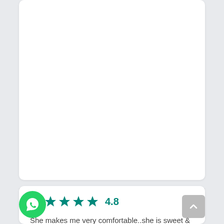"
Atilla
8 Apr 2021
[Figure (other): Star rating: 4.8 out of 5 stars (5 teal stars shown)]
4.8
She makes me very comfortable..she is sweet & cool
on..
[Figure (other): WhatsApp floating action button (green circle with WhatsApp phone icon)]
[Figure (other): Scroll-to-top button (grey rounded square with up arrow)]